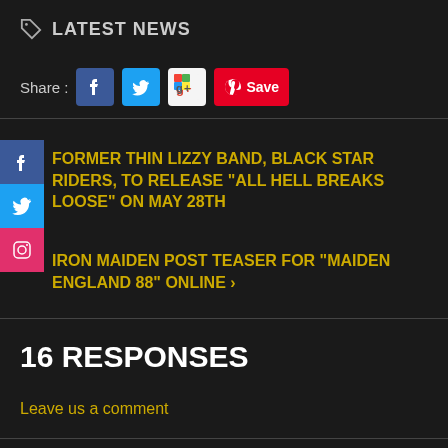LATEST NEWS
[Figure (screenshot): Social share bar with Facebook, Twitter, Google+, and Pinterest Save buttons]
FORMER THIN LIZZY BAND, BLACK STAR RIDERS, TO RELEASE “ALL HELL BREAKS LOOSE” ON MAY 28TH
IRON MAIDEN POST TEASER FOR “MAIDEN ENGLAND 88” ONLINE ›
16 RESPONSES
Leave us a comment